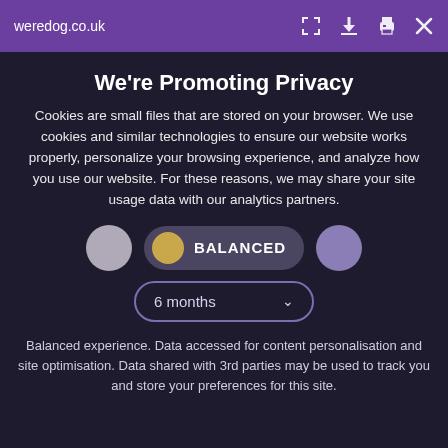weredog.co.uk
We're Promoting Privacy
Cookies are small files that are stored on your browser. We use cookies and similar technologies to ensure our website works properly, personalize your browsing experience, and analyze how you use our website. For these reasons, we may share your site usage data with our analytics partners.
[Figure (other): Three toggle buttons: a grey circle on the left, a centered pill-shaped toggle labeled BALANCED with a golden dot, and a purple circle on the right]
[Figure (other): A rounded dropdown selector showing '6 months' with a chevron arrow]
Balanced experience. Data accessed for content personalisation and site optimisation. Data shared with 3rd parties may be used to track you and store your preferences for this site.